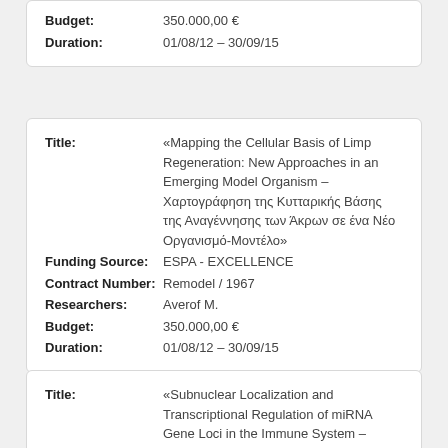| Field | Value |
| --- | --- |
| Budget: | 350.000,00 € |
| Duration: | 01/08/12 – 30/09/15 |
| Field | Value |
| --- | --- |
| Title: | «Mapping the Cellular Basis of Limp Regeneration: New Approaches in an Emerging Model Organism – Χαρτογράφηση της Κυτταρικής Βάσης της Αναγέννησης των Άκρων σε ένα Νέο Οργανισμό-Μοντέλο» |
| Funding Source: | ESPA - EXCELLENCE |
| Contract Number: | Remodel / 1967 |
| Researchers: | Averof M. |
| Budget: | 350.000,00 € |
| Duration: | 01/08/12 – 30/09/15 |
| Field | Value |
| --- | --- |
| Title: | «Subnuclear Localization and Transcriptional Regulation of miRNA Gene Loci in the Immune System – Υποπυρηνική |